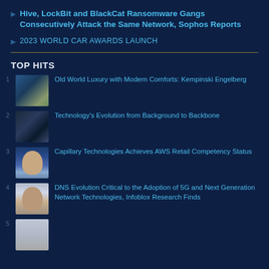Hive, LockBit and BlackCat Ransomware Gangs Consecutively Attack the Same Network, Sophos Reports
2023 WORLD CAR AWARDS LAUNCH
TOP HITS
Old World Luxury with Modern Comforts: Kempinski Engelberg
Technology's Evolution from Background to Backbone
Capillary Technologies Achieves AWS Retail Competency Status
DNS Evolution Critical to the Adoption of 5G and Next Generation Network Technologies, Infoblox Research Finds